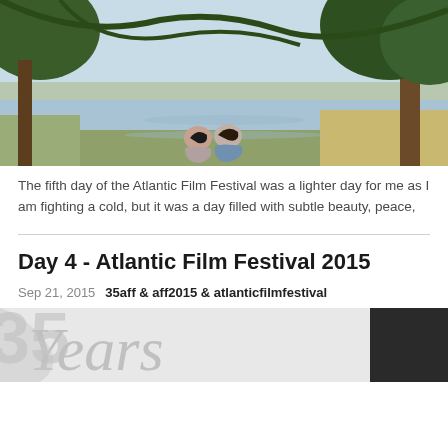[Figure (photo): Two people sitting by a river or lake, viewed from behind, surrounded by trees with overhanging branches and foliage.]
The fifth day of the Atlantic Film Festival was a lighter day for me as I am fighting a cold, but it was a day filled with subtle beauty, peace,
Day 4 - Atlantic Film Festival 2015
Sep 21, 2015   35aff & aff2015 & atlanticfilmfestival
[Figure (photo): Partial image showing 'Years' text in stylized script on a light background, partially cropped.]